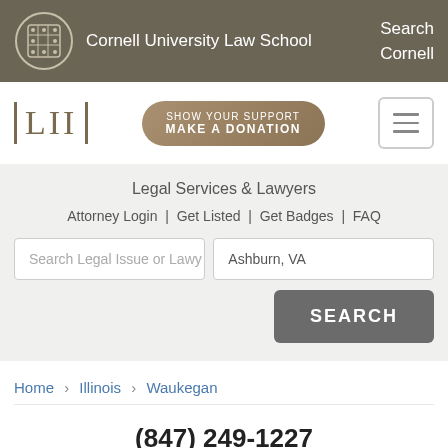Cornell University Law School  Search Cornell
[Figure (logo): LII Legal Information Institute logo with SHOW YOUR SUPPORT MAKE A DONATION button and hamburger menu icon]
Legal Services & Lawyers
Attorney Login | Get Listed | Get Badges | FAQ
Search Legal Issue or Lawy  Ashburn, VA  SEARCH
Home > Illinois > Waukegan
(847) 249-1227